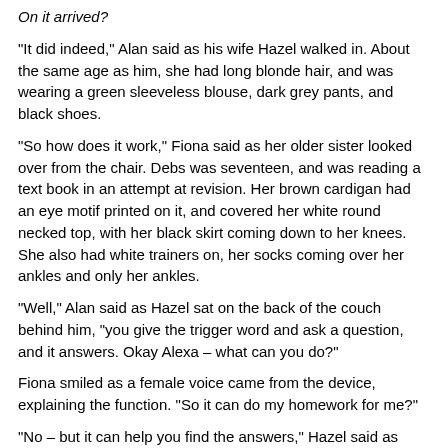On it arrived?
“It did indeed,” Alan said as his wife Hazel walked in.  About the same age as him, she had long blonde hair, and was wearing a green sleeveless blouse, dark grey pants, and black shoes.
“So how does it work,” Fiona said as her older sister looked over from the chair.  Debs was seventeen, and was reading a text book in an attempt at revision.  Her brown cardigan had an eye motif printed on it, and covered her white round necked top, with her black skirt coming down to her knees.  She also had white trainers on, her socks coming over her ankles and only her ankles.
“Well,” Alan said as Hazel sat on the back of the couch behind him, “you give the trigger word and ask a question, and it answers.  Okay Alexa – what can you do?”
Fiona smiled as a female voice came from the device, explaining the function.  “So it can do my homework for me?”
“No – but it can help you find the answers,” Hazel said as Colin came in.  The sixteen year old sat down, his blue hooded top opening to show his white t-shirt, and leaned forward with his elbows on the edge of his armrests, in an at